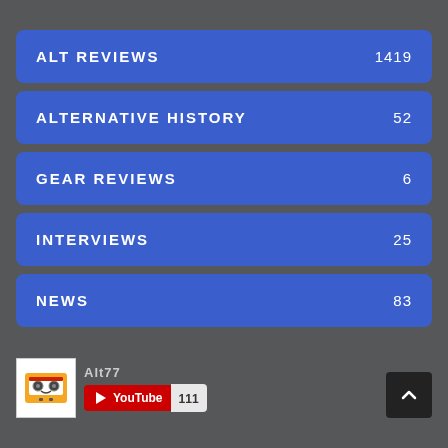ALT REVIEWS 1419
ALTERNATIVE HISTORY 52
GEAR REVIEWS 6
INTERVIEWS 25
NEWS 83
[Figure (logo): Cassette tape logo image for Alt77 website]
Alt77
[Figure (other): YouTube subscribe button with count 111]
[Figure (other): Scroll-to-top button with upward chevron arrow]